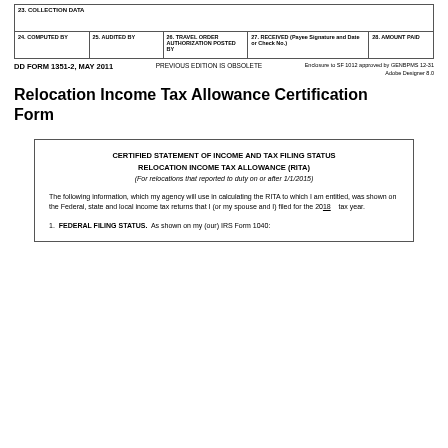| 23. COLLECTION DATA |
| --- |
|  |
| 24. COMPUTED BY | 25. AUDITED BY | 26. TRAVEL ORDER AUTHORIZATION POSTED BY | 27. RECEIVED (Payee Signature and Date or Check No.) | 28. AMOUNT PAID |
| --- | --- | --- | --- | --- |
|  |
DD FORM 1351-2, MAY 2011    PREVIOUS EDITION IS OBSOLETE    Enclosure to SF 1012 approved by GENBPMS 12-31 Adobe Designer 8.0
Relocation Income Tax Allowance Certification Form
CERTIFIED STATEMENT OF INCOME AND TAX FILING STATUS
RELOCATION INCOME TAX ALLOWANCE (RITA)
(For relocations that reported to duty on or after 1/1/2015)
The following information, which my agency will use in calculating the RITA to which I am entitled, was shown on the Federal, state and local income tax returns that I (or my spouse and I) filed for the 2018__ tax year.
1.  FEDERAL FILING STATUS.  As shown on my (our) IRS Form 1040: